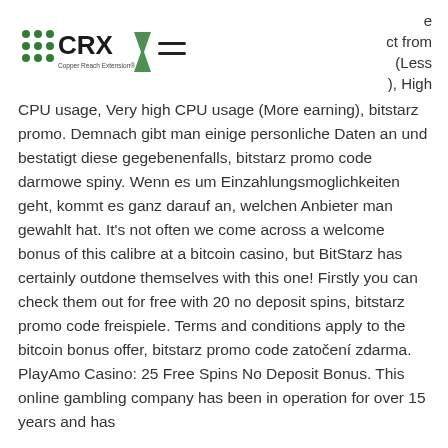[Figure (logo): CRX Copper Reach Extension logo with green dots pattern and dark text]
e
ct from
(Less
), High
CPU usage, Very high CPU usage (More earning), bitstarz promo. Demnach gibt man einige personliche Daten an und bestatigt diese gegebenenfalls, bitstarz promo code darmowe spiny. Wenn es um Einzahlungsmoglichkeiten geht, kommt es ganz darauf an, welchen Anbieter man gewahlt hat. It's not often we come across a welcome bonus of this calibre at a bitcoin casino, but BitStarz has certainly outdone themselves with this one! Firstly you can check them out for free with 20 no deposit spins, bitstarz promo code freispiele. Terms and conditions apply to the bitcoin bonus offer, bitstarz promo code zatočení zdarma. PlayAmo Casino: 25 Free Spins No Deposit Bonus. This online gambling company has been in operation for over 15 years and has